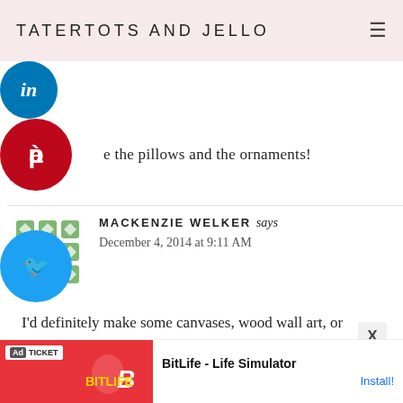TATERTOTS AND JELLO
e the pillows and the ornaments!
MACKENZIE WELKER says
December 4, 2014 at 9:11 AM
I'd definitely make some canvases, wood wall art, or ornaments (nativity themed) as Christmas gifts for my sisters and mom. They'd LOVE IT!
[Figure (screenshot): Advertisement banner for BitLife - Life Simulator app with red background and install button]